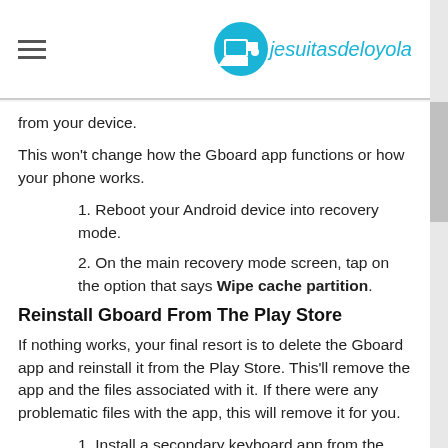jesuitasdeloyola
from your device.
This won't change how the Gboard app functions or how your phone works.
1. Reboot your Android device into recovery mode.
2. On the main recovery mode screen, tap on the option that says Wipe cache partition.
Reinstall Gboard From The Play Store
If nothing works, your final resort is to delete the Gboard app and reinstall it from the Play Store. This'll remove the app and the files associated with it. If there were any problematic files with the app, this will remove it for you.
1. Install a secondary keyboard app from the Play Store if Gboard is the only keyboard you have.